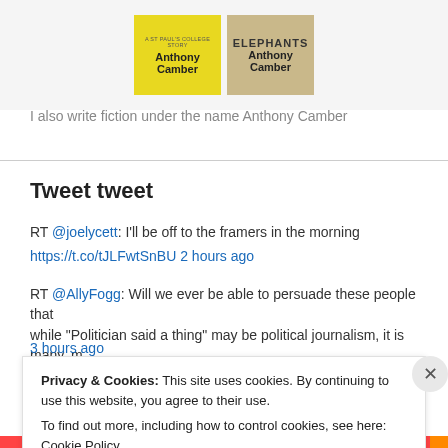[Figure (illustration): Two book covers side by side. Left: yellow cover with 'A ST PAUL'S COLLEGE STORY' subtitle and 'Anthony Camber' author name. Right: tan/beige cover with 'ELEPHANTS' title and 'Anthony Camber' author name.]
I also write fiction under the name Anthony Camber
Tweet tweet
RT @joelycett: I'll be off to the framers in the morning https://t.co/tJLFwtSnBU 2 hours ago
RT @AllyFogg: Will we ever be able to persuade these people that while "Politician said a thing" may be political journalism, it is many, m... 3 hours ago
Privacy & Cookies: This site uses cookies. By continuing to use this website, you agree to their use.
To find out more, including how to control cookies, see here: Cookie Policy